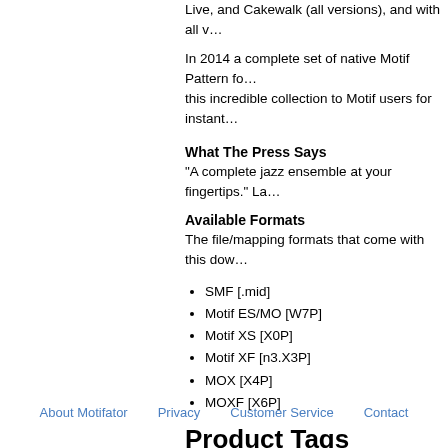Live, and Cakewalk (all versions), and with all v…
In 2014 a complete set of native Motif Pattern fo… this incredible collection to Motif users for instant…
What The Press Says
“A complete jazz ensemble at your fingertips.” La…
Available Formats
The file/mapping formats that come with this dow…
SMF [.mid]
Motif ES/MO [W7P]
Motif XS [X0P]
Motif XF [n3.X3P]
MOX [X4P]
MOXF [X6P]
Product Tags
Add Your Tags:
Use spaces to separate tags. Use single quotes…
About Motifator   Privacy   Customer Service   Contact